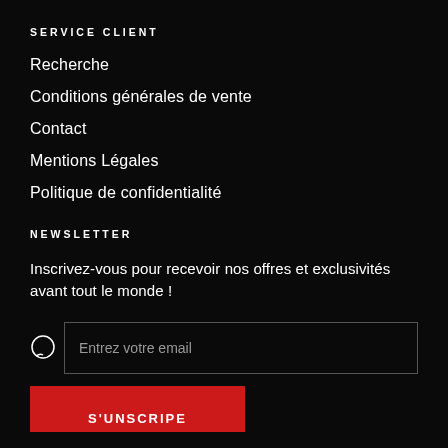SERVICE CLIENT
Recherche
Conditions générales de vente
Contact
Mentions Légales
Politique de confidentialité
NEWSLETTER
Inscrivez-vous pour recevoir nos offres et exclusivités avant tout le monde !
Entrez votre email
S'UNSCRIPE